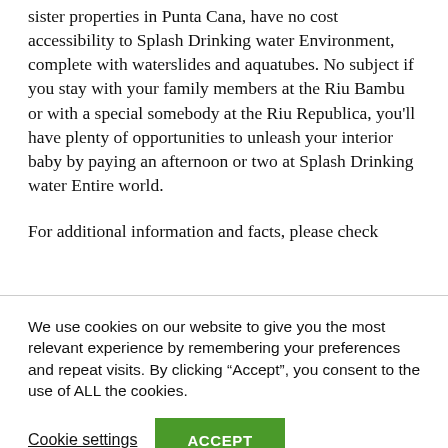sister properties in Punta Cana, have no cost accessibility to Splash Drinking water Environment, complete with waterslides and aquatubes. No subject if you stay with your family members at the Riu Bambu or with a special somebody at the Riu Republica, you'll have plenty of opportunities to unleash your interior baby by paying an afternoon or two at Splash Drinking water Entire world.
For additional information and facts, please check
We use cookies on our website to give you the most relevant experience by remembering your preferences and repeat visits. By clicking “Accept”, you consent to the use of ALL the cookies.